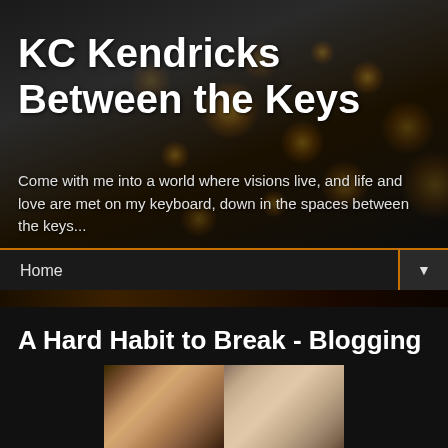KC Kendricks Between the Keys
Come with me into a world where visions live, and life and love are met on my keyboard, down in the spaces between the keys...
Home ▼
A Hard Habit to Break - Blogging
[Figure (photo): Two young men side by side, one with dark hair on the left and one with blonde hair on the right]